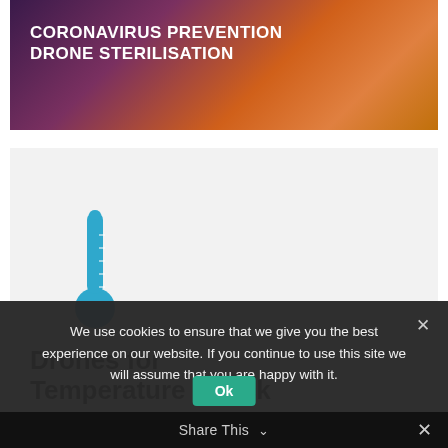[Figure (photo): Banner image with colorful background (purple, orange, warm tones) and white bold text reading 'CORONAVIRUS PREVENTION DRONE STERILISATION']
[Figure (illustration): Teal/blue thermometer icon on a light gray card background]
Drones for Temperature Check
We use cookies to ensure that we give you the best experience on our website. If you continue to use this site we will assume that you are happy with it.
Share This